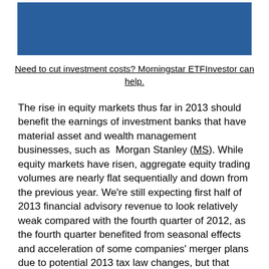[Figure (other): Blue banner/advertisement image for Morningstar ETFInvestor]
Need to cut investment costs? Morningstar ETFInvestor can help.
The rise in equity markets thus far in 2013 should benefit the earnings of investment banks that have material asset and wealth management businesses, such as Morgan Stanley (MS). While equity markets have risen, aggregate equity trading volumes are nearly flat sequentially and down from the previous year. We're still expecting first half of 2013 financial advisory revenue to look relatively weak compared with the fourth quarter of 2012, as the fourth quarter benefited from seasonal effects and acceleration of some companies' merger plans due to potential 2013 tax law changes, but that merger-related